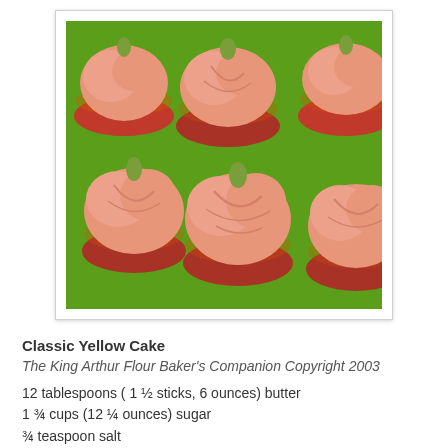[Figure (photo): Photo of pumpkin-shaped cupcakes with orange/peach frosting decorated to look like pumpkins with green stems, arranged on a bright green surface, in red patterned cupcake liners.]
Classic Yellow Cake
The King Arthur Flour Baker's Companion Copyright 2003
12 tablespoons ( 1 ½ sticks, 6 ounces) butter
1 ¾ cups (12 ¼ ounces) sugar
¾ teaspoon salt
2 ½ teaspoons baking powder